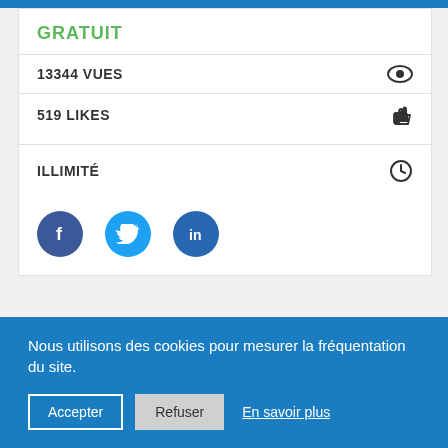GRATUIT
13344 VUES
519 LIKES
ILLIMITÉ
[Figure (infographic): Social share buttons: Facebook, Twitter, LinkedIn]
Nous utilisons des cookies pour mesurer la fréquentation du site.
Accepter  Refuser  En savoir plus